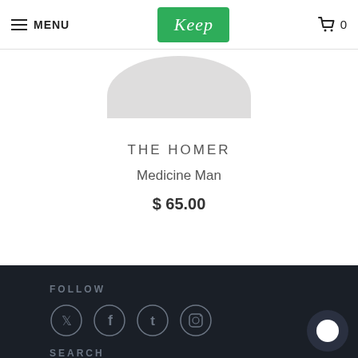MENU | Keep | 0
[Figure (photo): Partial product image cropped at top, light gray shape visible above product title]
THE HOMER
Medicine Man
$ 65.00
FOLLOW
[Figure (other): Four social media icon circles: Twitter, Facebook, Tumblr, Instagram]
SEARCH
ABOUT US